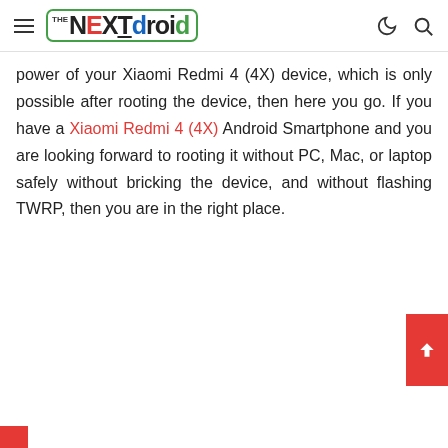THE NEXTdroid
power of your Xiaomi Redmi 4 (4X) device, which is only possible after rooting the device, then here you go. If you have a Xiaomi Redmi 4 (4X) Android Smartphone and you are looking forward to rooting it without PC, Mac, or laptop safely without bricking the device, and without flashing TWRP, then you are in the right place.